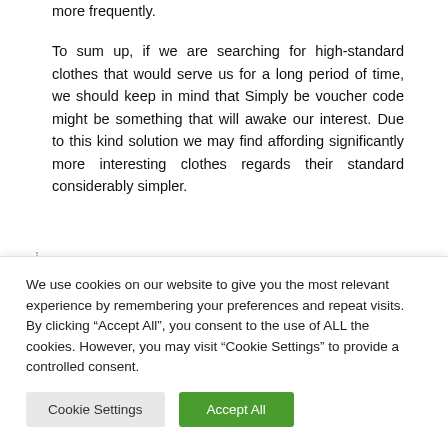more frequently.
To sum up, if we are searching for high-standard clothes that would serve us for a long period of time, we should keep in mind that Simply be voucher code might be something that will awake our interest. Due to this kind solution we may find affording significantly more interesting clothes regards their standard considerably simpler.
We use cookies on our website to give you the most relevant experience by remembering your preferences and repeat visits. By clicking "Accept All", you consent to the use of ALL the cookies. However, you may visit "Cookie Settings" to provide a controlled consent.